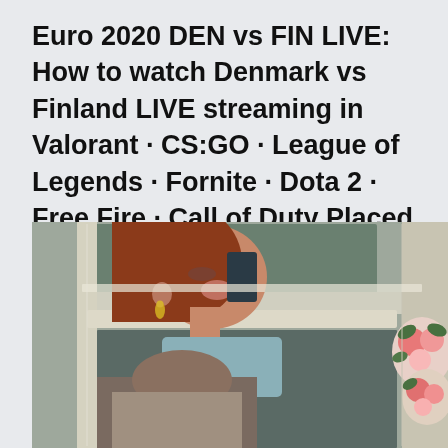Euro 2020 DEN vs FIN LIVE: How to watch Denmark vs Finland LIVE streaming in Valorant · CS:GO · League of Legends · Fornite · Dota 2 · Free Fire · Call of Duty Placed along w
[Figure (photo): A woman with red hair and gold drop earrings, partially visible through a vehicle window frame. She appears to be wearing a light blue outfit. The scene seems to be related to a wedding or formal event, with flowers visible on the right side of the image. The photo is taken at an angle, showing reflections and the interior of the vehicle.]